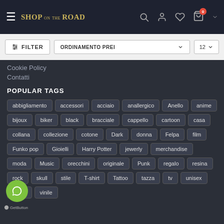SHOP on the ROAD — navigation header with filter bar
Cookie Policy
Contatti
POPULAR TAGS
abbigliamento
accessori
acciaio
anallergico
Anello
anime
bijoux
biker
black
bracciale
cappello
cartoon
casa
collana
collezione
cotone
Dark
donna
Felpa
film
Funko pop
Gioielli
Harry Potter
jewerly
merchandise
moda
Music
orecchini
originale
Punk
regalo
resina
rock
skull
stile
T-shirt
Tattoo
tazza
tv
unisex
uomo
vinile